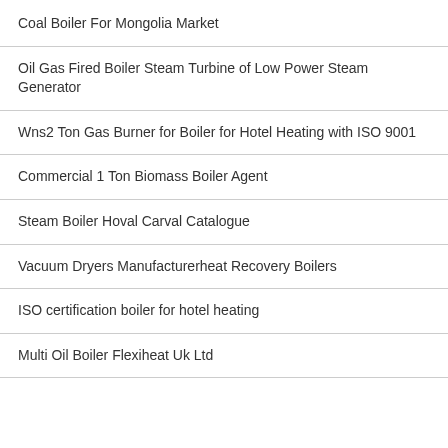Coal Boiler For Mongolia Market
Oil Gas Fired Boiler Steam Turbine of Low Power Steam Generator
Wns2 Ton Gas Burner for Boiler for Hotel Heating with ISO 9001
Commercial 1 Ton Biomass Boiler Agent
Steam Boiler Hoval Carval Catalogue
Vacuum Dryers Manufacturerheat Recovery Boilers
ISO certification boiler for hotel heating
Multi Oil Boiler Flexiheat Uk Ltd